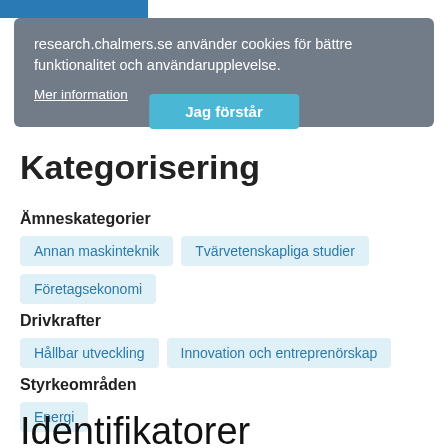[Figure (screenshot): Blue navigation bar at top of page]
research.chalmers.se använder cookies för bättre funktionalitet och användarupplevelse.
Mer information
Jag förstår
Kategorisering
Ämneskategorier
Annan maskinteknik
Tvärvetenskapliga studier
Företagsekonomi
Drivkrafter
Hållbar utveckling
Innovation och entreprenörskap
Styrkeområden
Energi
Identifikatorer